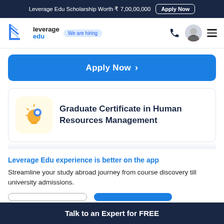Leverage Edu Scholarship Worth ₹ 7,00,00,000  Apply Now
[Figure (logo): Leverage Edu logo with rocket icon and 'We are hiring' badge]
[Figure (illustration): Blue Apply Now button with right arrow]
[Figure (illustration): Course card: Graduate Certificate in Human Resources Management with lightbulb and gear icon]
Leverage Edu experience is better on the app
Streamline your study abroad journey from course discovery till university admissions.
Talk to an Expert for FREE